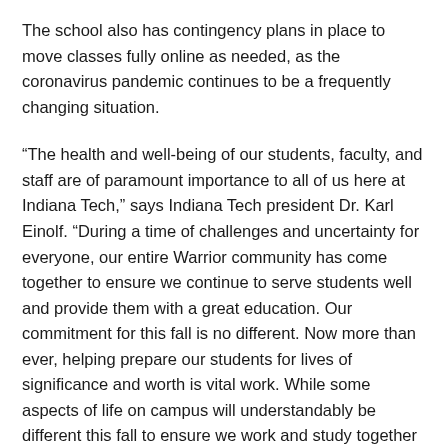The school also has contingency plans in place to move classes fully online as needed, as the coronavirus pandemic continues to be a frequently changing situation.
“The health and well-being of our students, faculty, and staff are of paramount importance to all of us here at Indiana Tech,” says Indiana Tech president Dr. Karl Einolf. “During a time of challenges and uncertainty for everyone, our entire Warrior community has come together to ensure we continue to serve students well and provide them with a great education. Our commitment for this fall is no different. Now more than ever, helping prepare our students for lives of significance and worth is vital work. While some aspects of life on campus will understandably be different this fall to ensure we work and study together safely, our mission remains the same. With Indiana Tech’s long and successful history of delivering education, we have the ability to pivot…